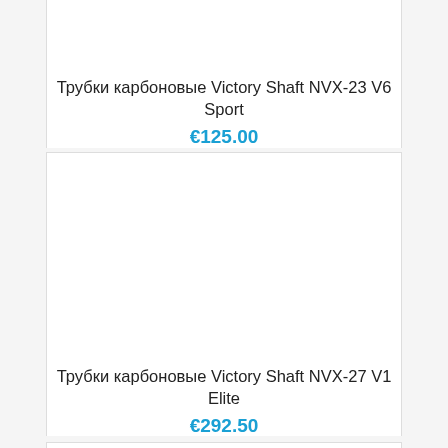Трубки карбоновые Victory Shaft NVX-23 V6 Sport
€125.00
Трубки карбоновые Victory Shaft NVX-27 V1 Elite
€292.50
Трубки карбоновые Victory Shaft VAP 166 V1 Elite